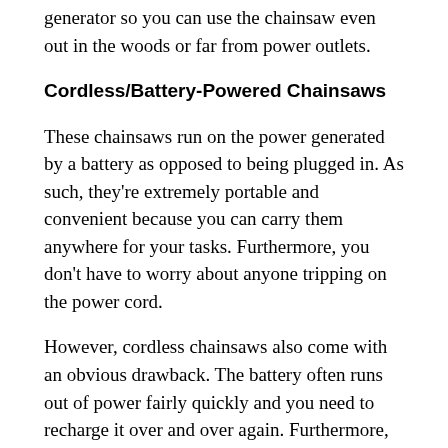generator so you can use the chainsaw even out in the woods or far from power outlets.
Cordless/Battery-Powered Chainsaws
These chainsaws run on the power generated by a battery as opposed to being plugged in. As such, they're extremely portable and convenient because you can carry them anywhere for your tasks. Furthermore, you don't have to worry about anyone tripping on the power cord.
However, cordless chainsaws also come with an obvious drawback. The battery often runs out of power fairly quickly and you need to recharge it over and over again. Furthermore, in most cases, it takes 1-2 hours at least for a chainsaw to be fully charged.